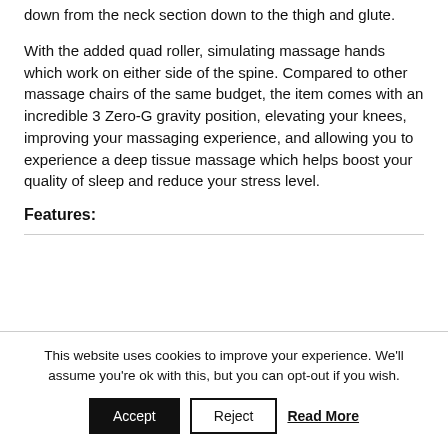down from the neck section down to the thigh and glute.
With the added quad roller, simulating massage hands which work on either side of the spine. Compared to other massage chairs of the same budget, the item comes with an incredible 3 Zero-G gravity position, elevating your knees, improving your massaging experience, and allowing you to experience a deep tissue massage which helps boost your quality of sleep and reduce your stress level.
Features:
This website uses cookies to improve your experience. We'll assume you're ok with this, but you can opt-out if you wish.